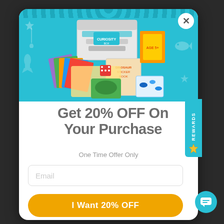[Figure (photo): Curiosity Box product photo showing a box labeled 'Building Creative Minds' with craft supplies, dinosaur sticker book, colored paper, and activity materials spread out]
Get 20% OFF On Your Purchase
One Time Offer Only
Email
I Want 20% OFF